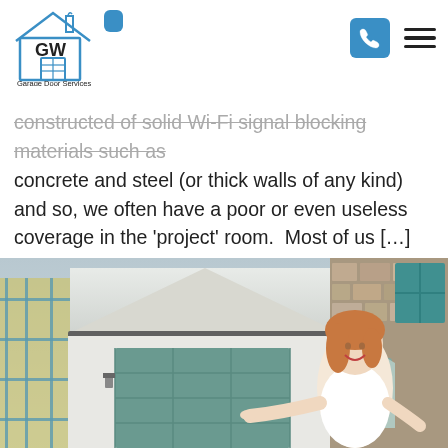[Figure (logo): GW Garage Door Services logo with house/garage icon in blue outline style]
constructed of solid Wi-Fi signal blocking materials such as concrete and steel (or thick walls of any kind) and so, we often have a poor or even useless coverage in the 'project' room.  Most of us […]
[Figure (photo): Woman in white t-shirt smiling and pointing at a green garage door attached to a white building, with scaffolding visible on the left and a stone-clad building on the right]